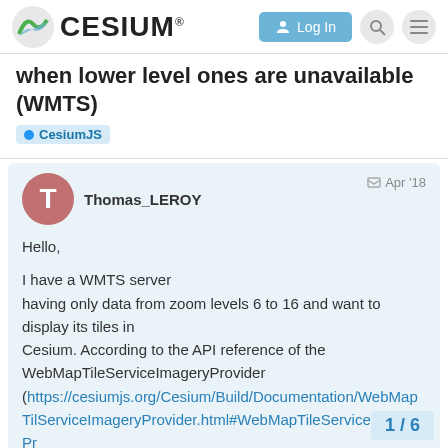CESIUM® Log In
when lower level ones are unavailable (WMTS)
CesiumJS
Thomas_LEROY   Apr '18
Hello,

I have a WMTS server having only data from zoom levels 6 to 16 and want to display its tiles in Cesium. According to the API reference of the WebMapTileServiceImageryProvider (https://cesiumjs.org/Cesium/Build/Documentation/WebMapTileServiceImageryProvider.html#WebMapTileServiceImageryProvider), I should be able to use the 'minimumLevel' 'maximumLevel' properties to
1 / 6